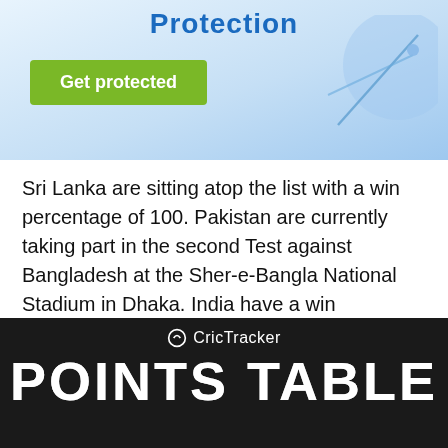[Figure (illustration): Advertisement banner with blue gradient background, bold blue 'Protection' heading, green 'Get protected' button, and decorative blue geometric shape on the right]
Sri Lanka are sitting atop the list with a win percentage of 100. Pakistan are currently taking part in the second Test against Bangladesh at the Sher-e-Bangla National Stadium in Dhaka. India have a win percentage of 58.33 with three victories. England and West Indies have a lot of catching up to do. Australia will start their campaign in the WTC championship with the Ashes.
[Figure (screenshot): CricTracker branded image with dark background showing 'POINTS TABLE' in large white bold text with the CricTracker logo above it]